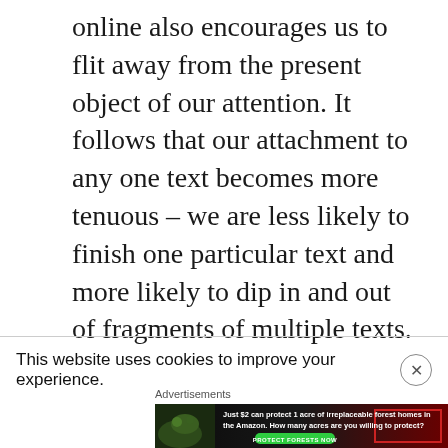online also encourages us to flit away from the present object of our attention. It follows that our attachment to any one text becomes more tenuous – we are less likely to finish one particular text and more likely to dip in and out of fragments of multiple texts.
This website uses cookies to improve your experience.
Advertisements
[Figure (illustration): Advertisement banner with dark forest background showing a frog, text reading 'Just $2 can protect 1 acre of irreplaceable forest homes in the Amazon. How many acres are you willing to protect?' with a green 'PROTECT FORESTS NOW' button]